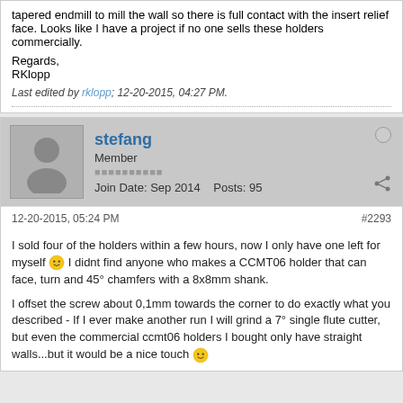tapered endmill to mill the wall so there is full contact with the insert relief face. Looks like I have a project if no one sells these holders commercially.
Regards,
RKlopp
Last edited by rklopp; 12-20-2015, 04:27 PM.
stefang
Member
Join Date: Sep 2014   Posts: 95
12-20-2015, 05:24 PM
#2293
I sold four of the holders within a few hours, now I only have one left for myself 😀 I didnt find anyone who makes a CCMT06 holder that can face, turn and 45° chamfers with a 8x8mm shank.
I offset the screw about 0,1mm towards the corner to do exactly what you described - If I ever make another run I will grind a 7° single flute cutter, but even the commercial ccmt06 holders I bought only have straight walls...but it would be a nice touch 😀